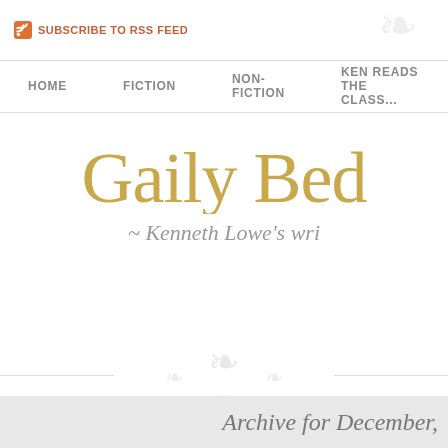SUBSCRIBE TO RSS FEED
HOME   FICTION   NON-FICTION   KEN READS THE CLASS...
Gaily Bed
~ Kenneth Lowe's wri
[Figure (illustration): Decorative ornamental flourish divider]
Archive for December,